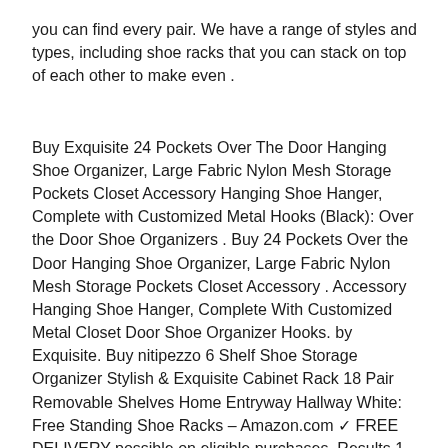you can find every pair. We have a range of styles and types, including shoe racks that you can stack on top of each other to make even .
Buy Exquisite 24 Pockets Over The Door Hanging Shoe Organizer, Large Fabric Nylon Mesh Storage Pockets Closet Accessory Hanging Shoe Hanger, Complete with Customized Metal Hooks (Black): Over the Door Shoe Organizers . Buy 24 Pockets Over the Door Hanging Shoe Organizer, Large Fabric Nylon Mesh Storage Pockets Closet Accessory . Accessory Hanging Shoe Hanger, Complete With Customized Metal Closet Door Shoe Organizer Hooks. by Exquisite. Buy nitipezzo 6 Shelf Shoe Storage Organizer Stylish & Exquisite Cabinet Rack 18 Pair Removable Shelves Home Entryway Hallway White: Free Standing Shoe Racks – Amazon.com ✓ FREE DELIVERY possible on eligible purchases. Results 1 – 24 of 516 – wall shelf Shoe racks bamboo shoes shelves flat shoes display stand home door shoe rack solid wood shoe rack, multi-layer dust-